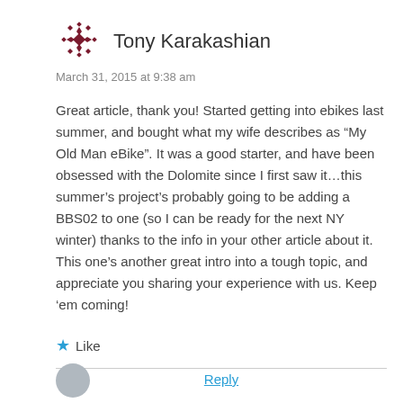[Figure (illustration): Decorative avatar icon for Tony Karakashian — dark red geometric snowflake/mandala pattern]
Tony Karakashian
March 31, 2015 at 9:38 am
Great article, thank you! Started getting into ebikes last summer, and bought what my wife describes as “My Old Man eBike”. It was a good starter, and have been obsessed with the Dolomite since I first saw it…this summer’s project’s probably going to be adding a BBS02 to one (so I can be ready for the next NY winter) thanks to the info in your other article about it. This one’s another great intro into a tough topic, and appreciate you sharing your experience with us. Keep ‘em coming!
★ Like
Reply